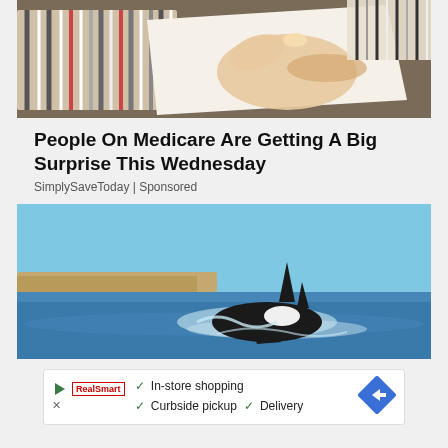[Figure (photo): A hand holding papers or coupons with striped patterns on a table]
People On Medicare Are Getting A Big Surprise This Wednesday
SimplySaveToday | Sponsored
[Figure (photo): An orca whale swimming in shallow ocean water near a coastline with cliffs in the background under a clear blue sky]
[Figure (screenshot): Advertisement banner showing a store navigation icon, a red brand logo, checkmarks next to In-store shopping, Curbside pickup, Delivery, and a blue diamond arrow icon]